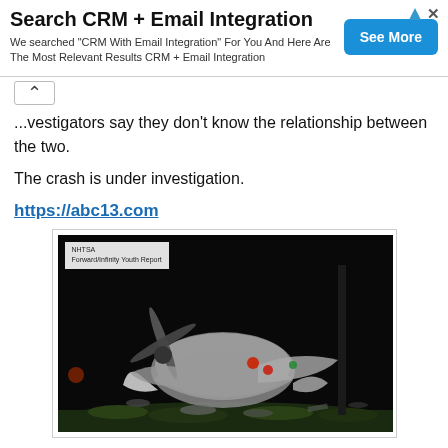[Figure (infographic): Advertisement banner: Search CRM + Email Integration with See More button]
...vestigators say they don't know the relationship between the two.
The crash is under investigation.
https://abc13.com
[Figure (photo): Night photo of crashed small plane wreckage on grass, propeller visible, debris scattered, dark background with some red/green lights visible. Label in top left corner reads NHTSA or similar agency name with 'Forward/Infinity/youth Report' text.]